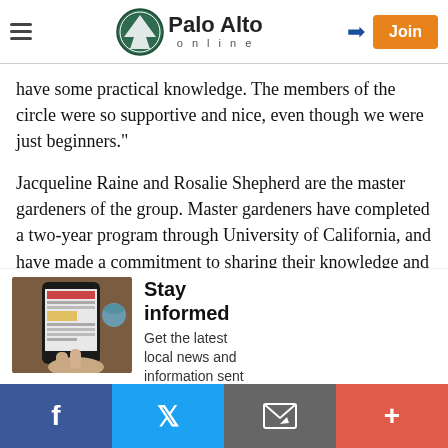Palo Alto online
have some practical knowledge. The members of the circle were so supportive and nice, even though we were just beginners."
Jacqueline Raine and Rosalie Shepherd are the master gardeners of the group. Master gardeners have completed a two-year program through University of California, and have made a commitment to sharing their knowledge and expertise with the community.
[Figure (photo): Hands holding a smartphone displaying a newspaper/news app, with a coffee cup in the background]
Stay informed
Get the latest local news and information sent
Facebook | Twitter | Email | Plus